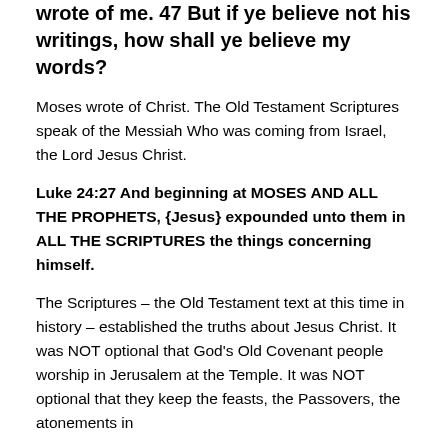wrote of me. 47 But if ye believe not his writings, how shall ye believe my words?
Moses wrote of Christ. The Old Testament Scriptures speak of the Messiah Who was coming from Israel, the Lord Jesus Christ.
Luke 24:27 And beginning at MOSES AND ALL THE PROPHETS, {Jesus} expounded unto them in ALL THE SCRIPTURES the things concerning himself.
The Scriptures – the Old Testament text at this time in history – established the truths about Jesus Christ. It was NOT optional that God's Old Covenant people worship in Jerusalem at the Temple. It was NOT optional that they keep the feasts, the Passovers, the atonements in